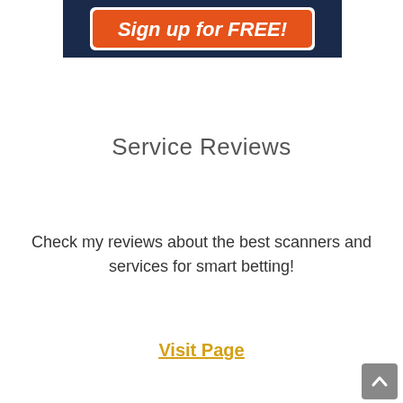[Figure (other): Dark navy blue banner with an orange button that reads 'Sign up for FREE!' in bold white italic text. White border around the orange button.]
Service Reviews
Check my reviews about the best scanners and services for smart betting!
Visit Page